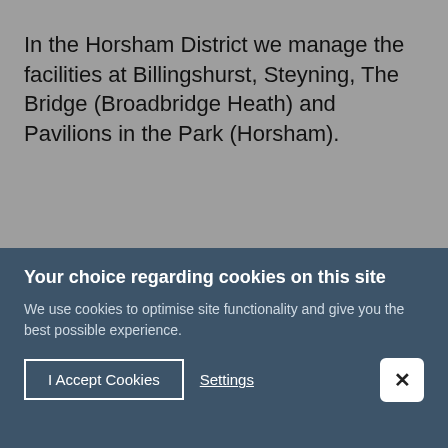In the Horsham District we manage the facilities at Billingshurst, Steyning, The Bridge (Broadbridge Heath) and Pavilions in the Park (Horsham).
[Figure (photo): Photo showing two people in what appears to be a leisure/sports facility. Text overlay reads 'The place for' and 'HELPFUL' in large orange letters.]
Your choice regarding cookies on this site
We use cookies to optimise site functionality and give you the best possible experience.